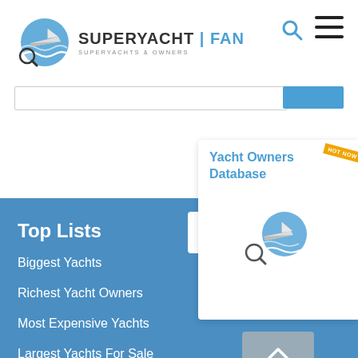[Figure (logo): SuperYachtFan logo with magnifying glass over yacht on waves, circular blue design]
SUPERYACHT | FAN
SUPERYACHTS & OWNERS
[Figure (illustration): Search icon (magnifying glass)]
[Figure (illustration): Hamburger menu icon (three horizontal lines)]
[Figure (illustration): Yacht Owners Database promotional card with logo illustration and HOT NOW badge]
[Figure (illustration): UK flag with EN language selector and arrow]
Top Lists
Biggest Yachts
Richest Yacht Owners
Most Expensive Yachts
Largest Yachts For Sale